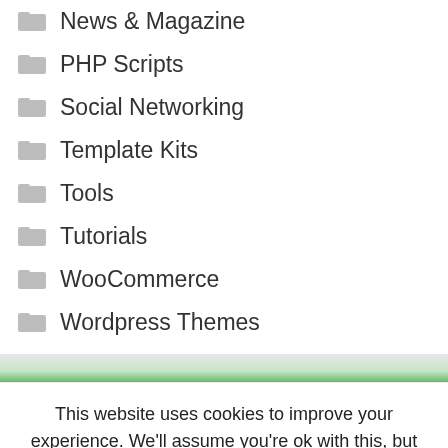News & Magazine
PHP Scripts
Social Networking
Template Kits
Tools
Tutorials
WooCommerce
Wordpress Themes
This website uses cookies to improve your experience. We'll assume you're ok with this, but you can opt-out if you wish.
Cookie settings
ACCEPT